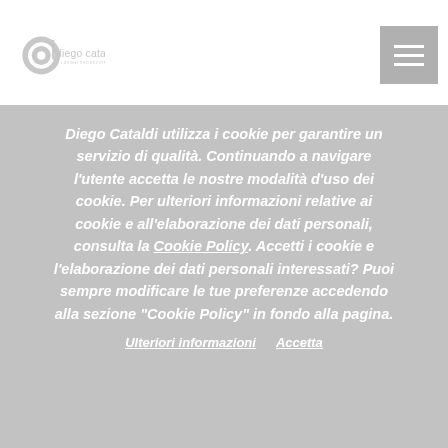[Figure (logo): Diego Cataldi logo with circular graphic and text 'diego cataldi' with tagline 'LUOGHI PRODUZIONE FORA']
[Figure (other): Hamburger/menu icon button with three white horizontal lines on grey background]
Diego Cataldi utilizza i cookie per garantire un servizio di qualità. Continuando a navigare l'utente accetta le nostre modalità d'uso dei cookie. Per ulteriori informazioni relative ai cookie e all'elaborazione dei dati personali, consulta la Cookie Policy. Accetti i cookie e l'elaborazione dei dati personali interessati? Puoi sempre modificare le tue preferenze accedendo alla sezione "Cookie Policy" in fondo alla pagina.
Ulteriori informazioni   Accetta